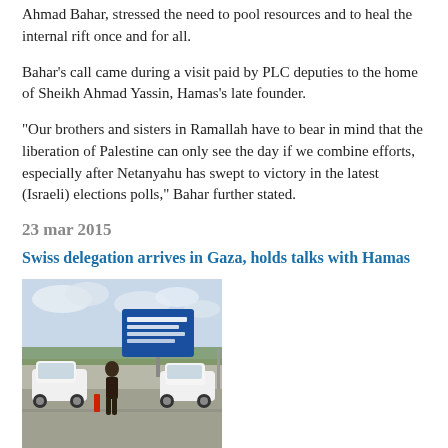Ahmad Bahar, stressed the need to pool resources and to heal the internal rift once and for all.
Bahar's call came during a visit paid by PLC deputies to the home of Sheikh Ahmad Yassin, Hamas's late founder.
“Our brothers and sisters in Ramallah have to bear in mind that the liberation of Palestine can only see the day if we combine efforts, especially after Netanyahu has swept to victory in the latest (Israeli) elections polls,” Bahar further stated.
23 mar 2015
Swiss delegation arrives in Gaza, holds talks with Hamas
[Figure (photo): Photo of a vehicle and a person standing at Erez Crossing border, with a blue sign reading 'Welcome to Erez Crossing' in Hebrew, English and Arabic.]